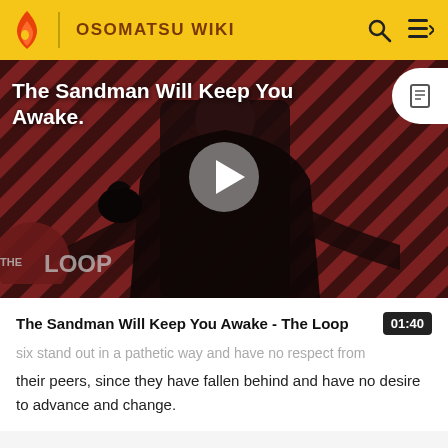OSOMATSU WIKI
[Figure (screenshot): Video thumbnail for 'The Sandman Will Keep You Awake - The Loop' showing a figure dressed in black against a diagonal red and dark striped background, with THE LOOP watermark, a play button in the center, and the video title overlaid in white text.]
The Sandman Will Keep You Awake - The Loop
six stand out in a pathetic way and have no respect from their peers, since they have fallen behind and have no desire to advance and change.